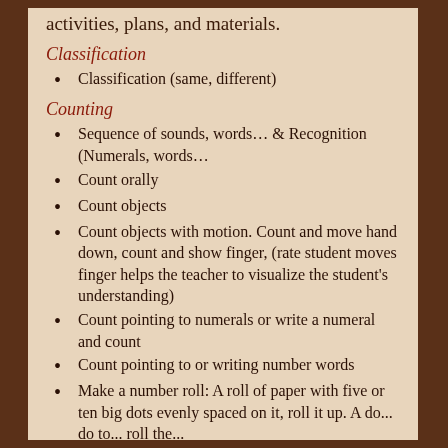activities, plans, and materials.
Classification
Classification (same, different)
Counting
Sequence of sounds, words… & Recognition (Numerals, words…
Count orally
Count objects
Count objects with motion. Count and move hand down, count and show finger, (rate student moves finger helps the teacher to visualize the student's understanding)
Count pointing to numerals or write a numeral and count
Count pointing to or writing number words
Make a number roll: A roll of paper with five or ten big dots evenly spaced on it, roll it up. A do... do to... roll the...